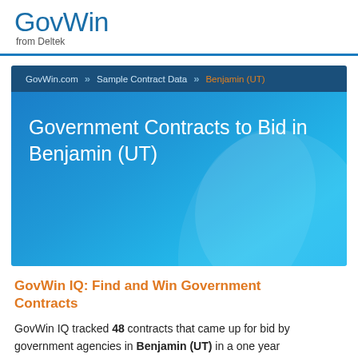GovWin from Deltek
[Figure (screenshot): GovWin banner with breadcrumb navigation (GovWin.com » Sample Contract Data » Benjamin (UT)) and blue gradient hero area with title 'Government Contracts to Bid in Benjamin (UT)']
Government Contracts to Bid in Benjamin (UT)
GovWin IQ: Find and Win Government Contracts
GovWin IQ tracked 48 contracts that came up for bid by government agencies in Benjamin (UT) in a one year